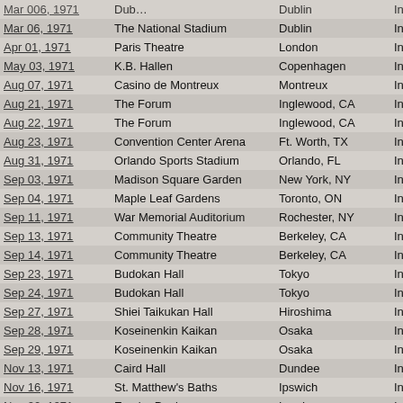| Date | Venue | City |  |
| --- | --- | --- | --- |
| Mar 06, 1971 | The National Stadium | Dublin | In Me |
| Apr 01, 1971 | Paris Theatre | London | In Me |
| May 03, 1971 | K.B. Hallen | Copenhagen | In Me |
| Aug 07, 1971 | Casino de Montreux | Montreux | In Me |
| Aug 21, 1971 | The Forum | Inglewood, CA | In Me |
| Aug 22, 1971 | The Forum | Inglewood, CA | In Me |
| Aug 23, 1971 | Convention Center Arena | Ft. Worth, TX | In Me |
| Aug 31, 1971 | Orlando Sports Stadium | Orlando, FL | In Me |
| Sep 03, 1971 | Madison Square Garden | New York, NY | In Me |
| Sep 04, 1971 | Maple Leaf Gardens | Toronto, ON | In Me |
| Sep 11, 1971 | War Memorial Auditorium | Rochester, NY | In Me |
| Sep 13, 1971 | Community Theatre | Berkeley, CA | In Me |
| Sep 14, 1971 | Community Theatre | Berkeley, CA | In Me |
| Sep 23, 1971 | Budokan Hall | Tokyo | In Me |
| Sep 24, 1971 | Budokan Hall | Tokyo | In Me |
| Sep 27, 1971 | Shiei Taikukan Hall | Hiroshima | In Me |
| Sep 28, 1971 | Koseinenkin Kaikan | Osaka | In Me |
| Sep 29, 1971 | Koseinenkin Kaikan | Osaka | In Me |
| Nov 13, 1971 | Caird Hall | Dundee | In Me |
| Nov 16, 1971 | St. Matthew's Baths | Ipswich | In Me |
| Nov 20, 1971 | Empire Pool | London | In Me |
| Nov 24, 1971 | Free Trade Hall | Manchester | In Me |
| Nov 25, 1971 | Percy Gee Building | Leicester | In Me |
| Dec 02, 1971 | Starkers Royal Ballrooms | Bournemouth | In Me |
| Feb 19, 1972 | Memorial Drive Park | Adelaide, SA | In Me |